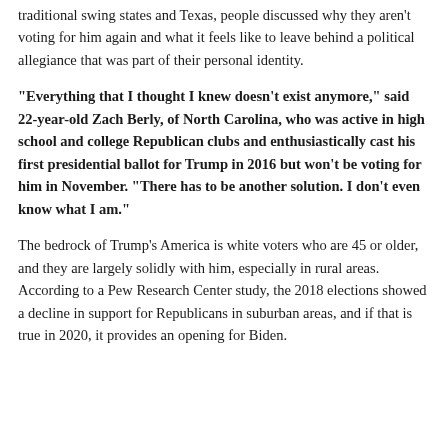traditional swing states and Texas, people discussed why they aren't voting for him again and what it feels like to leave behind a political allegiance that was part of their personal identity.
“Everything that I thought I knew doesn’t exist anymore,” said 22-year-old Zach Berly, of North Carolina, who was active in high school and college Republican clubs and enthusiastically cast his first presidential ballot for Trump in 2016 but won’t be voting for him in November. “There has to be another solution. I don’t even know what I am.”
The bedrock of Trump’s America is white voters who are 45 or older, and they are largely solidly with him, especially in rural areas. According to a Pew Research Center study, the 2018 elections showed a decline in support for Republicans in suburban areas, and if that is true in 2020, it provides an opening for Biden.